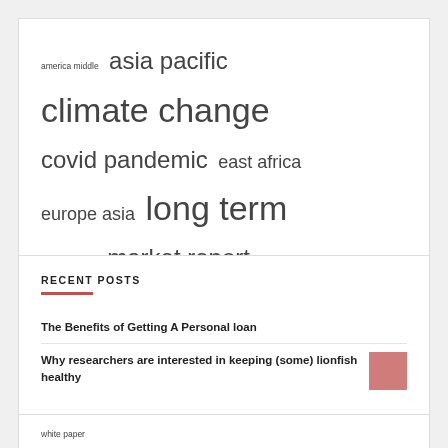[Figure (other): Tag cloud with terms of varying font sizes: america middle (small), asia pacific (medium-large), climate change (large), covid pandemic (medium-large), east africa (medium), europe asia (medium), long term (large), market players (small), market report (medium-large), market research (small-medium), market share (small-medium), middle east (medium), north america (medium-large), united states (very large), white paper (small)]
RECENT POSTS
The Benefits of Getting A Personal loan
Why researchers are interested in keeping (some) lionfish healthy